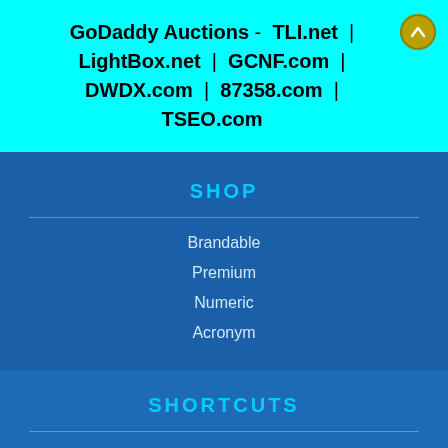GoDaddy Auctions - TLI.net | LightBox.net | GCNF.com | DWDX.com | 87358.com | TSEO.com
SHOP
Brandable
Premium
Numeric
Acronym
SHORTCUTS